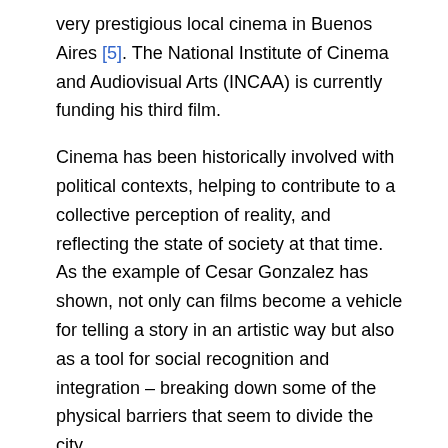very prestigious local cinema in Buenos Aires [5]. The National Institute of Cinema and Audiovisual Arts (INCAA) is currently funding his third film.
Cinema has been historically involved with political contexts, helping to contribute to a collective perception of reality, and reflecting the state of society at that time. As the example of Cesar Gonzalez has shown, not only can films become a vehicle for telling a story in an artistic way but also as a tool for social recognition and integration – breaking down some of the physical barriers that seem to divide the city.
References
[1] Thomson, David (2013) The big screen: the story of the movies and what they did to us. Penguin Books, London.